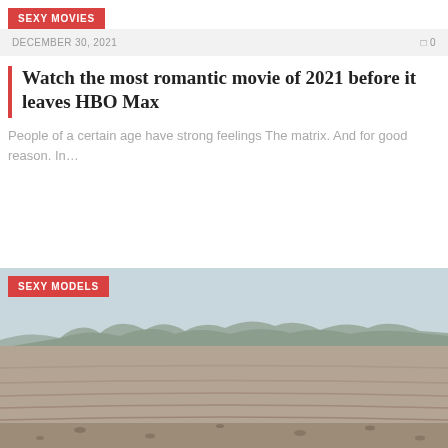SEXY MOVIES
DECEMBER 30, 2021    □ 0
Watch the most romantic movie of 2021 before it leaves HBO Max
People of a certain age have strong feelings The matrix. And for good reason. In…
SEXY MODELS
[Figure (photo): Outdoor agricultural field with bare soil and rows visible, misty/hazy treeline in background under overcast sky]